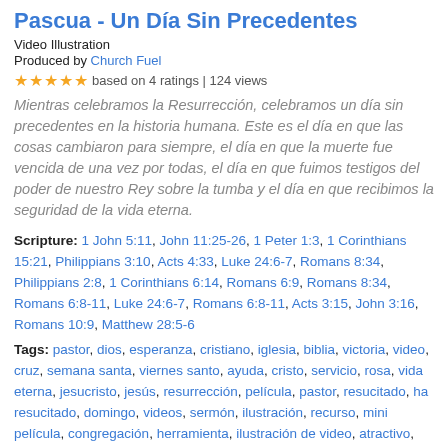Pascua - Un Día Sin Precedentes
Video Illustration
Produced by Church Fuel
★★★★★ based on 4 ratings | 124 views
Mientras celebramos la Resurrección, celebramos un día sin precedentes en la historia humana. Este es el día en que las cosas cambiaron para siempre, el día en que la muerte fue vencida de una vez por todas, el día en que fuimos testigos del poder de nuestro Rey sobre la tumba y el día en que recibimos la seguridad de la vida eterna.
Scripture: 1 John 5:11, John 11:25-26, 1 Peter 1:3, 1 Corinthians 15:21, Philippians 3:10, Acts 4:33, Luke 24:6-7, Romans 8:34, Philippians 2:8, 1 Corinthians 6:14, Romans 6:9, Romans 8:34, Romans 6:8-11, Luke 24:6-7, Romans 6:8-11, Acts 3:15, John 3:16, Romans 10:9, Matthew 28:5-6
Tags: pastor, dios, esperanza, cristiano, iglesia, biblia, victoria, video, cruz, semana santa, viernes santo, ayuda, cristo, servicio, rosa, vida eterna, jesucristo, jesús, resurrección, película, pastor, resucitado, ha resucitado, domingo, videos, sermón, ilustración, recurso, mini película, congregación, herramienta, ilustración de video, atractivo, interesante, resucitar, abril, domingo de resurrección, muerto, sepultura, video de